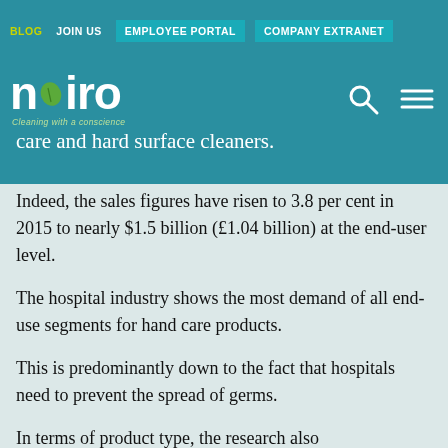BLOG  JOIN US  EMPLOYEE PORTAL  COMPANY EXTRANET
[Figure (logo): Nviro logo with green leaf icon and tagline 'Cleaning with a conscience']
care and hard surface cleaners.
Indeed, the sales figures have risen to 3.8 per cent in 2015 to nearly $1.5 billion (£1.04 billion) at the end-user level.
The hospital industry shows the most demand of all end-use segments for hand care products.
This is predominantly down to the fact that hospitals need to prevent the spread of germs.
In terms of product type, the research also